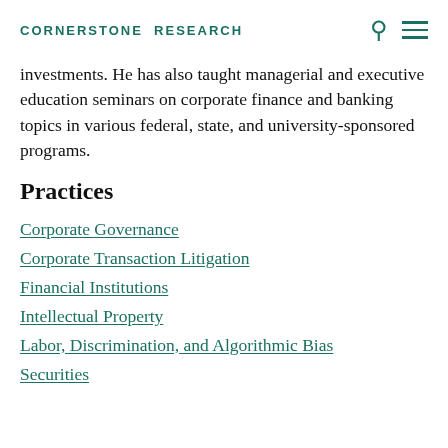CORNERSTONE RESEARCH
investments. He has also taught managerial and executive education seminars on corporate finance and banking topics in various federal, state, and university-sponsored programs.
Practices
Corporate Governance
Corporate Transaction Litigation
Financial Institutions
Intellectual Property
Labor, Discrimination, and Algorithmic Bias
Securities